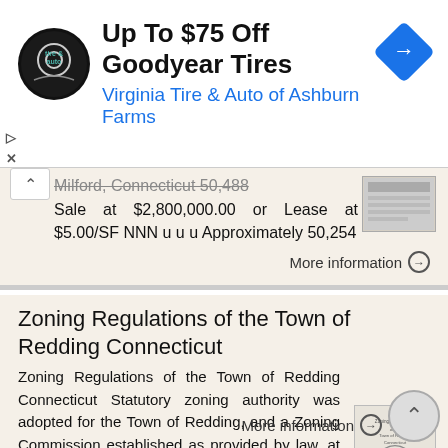[Figure (other): Ad banner: Virginia Tire & Auto logo circle, text 'Up To $75 Off Goodyear Tires' and 'Virginia Tire & Auto of Ashburn Farms', blue diamond navigation icon]
...Milford, Connecticut 50,488 Sale at $2,800,000.00 or Lease at $5.00/SF NNN u u u Approximately 50,254
More information →
Zoning Regulations of the Town of Redding Connecticut
Zoning Regulations of the Town of Redding Connecticut Statutory zoning authority was adopted for the Town of Redding, and a Zoning Commission established as provided by law, at a Town Meeting held May
More information →